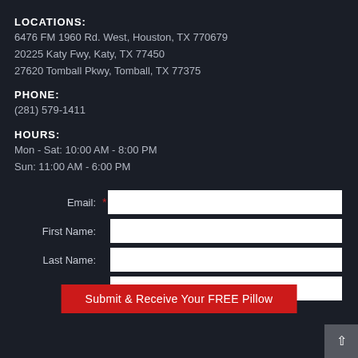LOCATIONS:
6476 FM 1960 Rd. West, Houston, TX 770679
20225 Katy Fwy, Katy, TX 77450
27620 Tomball Pkwy, Tomball, TX 77375
PHONE:
(281) 579-1411
HOURS:
Mon - Sat: 10:00 AM - 8:00 PM
Sun: 11:00 AM - 6:00 PM
Email: * [input field]
First Name: [input field]
Last Name: [input field]
Phone: [input field]
Submit & Receive Your FREE Pillow